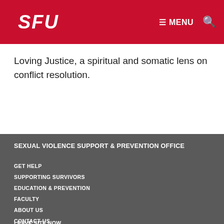SFU | MENU | Search
Loving Justice, a spiritual and somatic lens on conflict resolution.
SEXUAL VIOLENCE SUPPORT & PREVENTION OFFICE
GET HELP
SUPPORTING SURVIVORS
EDUCATION & PREVENTION
FACULTY
ABOUT US
CONTACT US
LEAVE SITE NOW